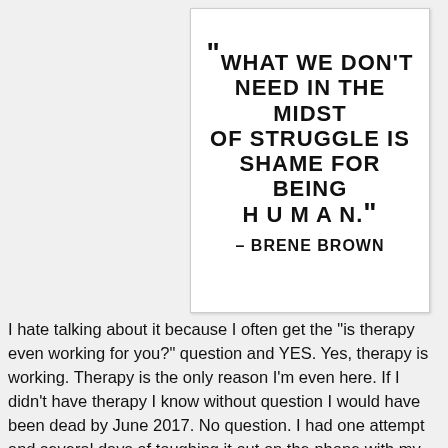[Figure (illustration): A white card with handwritten-style text quote: "What we don't need in the midst of struggle is shame for being human." - Brene Brown]
I hate talking about it because I often get the "is therapy even working for you?" question and YES. Yes, therapy is working. Therapy is the only reason I'm even here. If I didn't have therapy I know without question I would have been dead by June 2017. No question. I had one attempt and several days of toughing it out on the phone with my therapist, praying to anything to get me through the day. So yes, I know its working. I know people are sick of it and god-